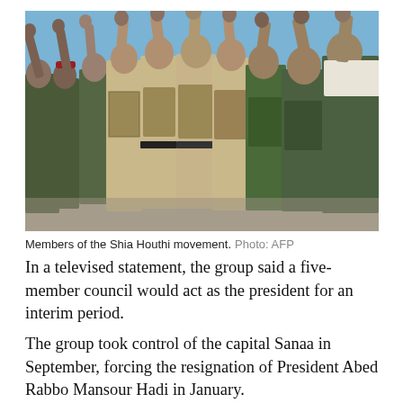[Figure (photo): Members of the Shia Houthi movement standing in a row with raised fists, wearing military uniforms and camouflage, against a blue sky background.]
Members of the Shia Houthi movement. Photo: AFP
In a televised statement, the group said a five-member council would act as the president for an interim period.
The group took control of the capital Sanaa in September, forcing the resignation of President Abed Rabbo Mansour Hadi in January.